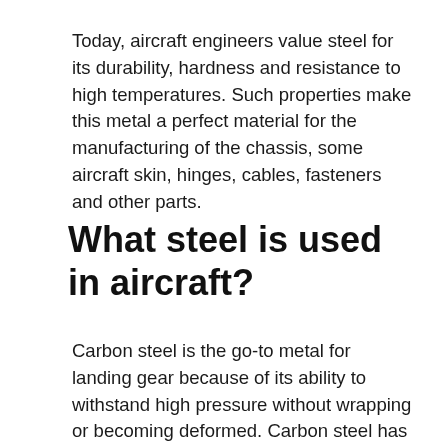Today, aircraft engineers value steel for its durability, hardness and resistance to high temperatures. Such properties make this metal a perfect material for the manufacturing of the chassis, some aircraft skin, hinges, cables, fasteners and other parts.
What steel is used in aircraft?
Carbon steel is the go-to metal for landing gear because of its ability to withstand high pressure without wrapping or becoming deformed. Carbon steel has also been used as the skin of some high-speed airplanes. Supersonic jets use carbon steel because of